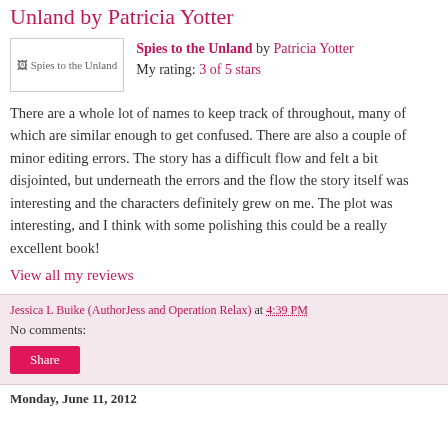Unland by Patricia Yotter
[Figure (other): Book cover image placeholder for 'Spies to the Unland']
Spies to the Unland by Patricia Yotter
My rating: 3 of 5 stars
There are a whole lot of names to keep track of throughout, many of which are similar enough to get confused. There are also a couple of minor editing errors. The story has a difficult flow and felt a bit disjointed, but underneath the errors and the flow the story itself was interesting and the characters definitely grew on me. The plot was interesting, and I think with some polishing this could be a really excellent book!
View all my reviews
Jessica L Buike (AuthorJess and Operation Relax) at 4:39 PM
No comments:
Monday, June 11, 2012